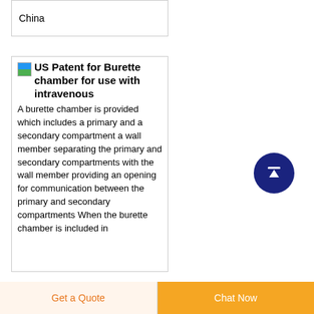China
US Patent for Burette chamber for use with intravenous
A burette chamber is provided which includes a primary and a secondary compartment a wall member separating the primary and secondary compartments with the wall member providing an opening for communication between the primary and secondary compartments When the burette chamber is included in
[Figure (other): Scroll to top button - dark navy blue circle with white upward arrow]
Get a Quote
Chat Now